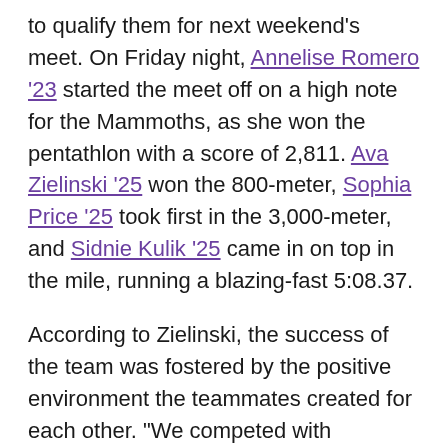to qualify them for next weekend's meet. On Friday night, Annelise Romero '23 started the meet off on a high note for the Mammoths, as she won the pentathlon with a score of 2,811. Ava Zielinski '25 won the 800-meter, Sophia Price '25 took first in the 3,000-meter, and Sidnie Kulik '25 came in on top in the mile, running a blazing-fast 5:08.37.
According to Zielinski, the success of the team was fostered by the positive environment the teammates created for each other. “We competed with determination and everyone was super supportive of one another throughout the whole meet,” she said. “Tons of people also got personal bests or are now really close to their high school [personal records].”